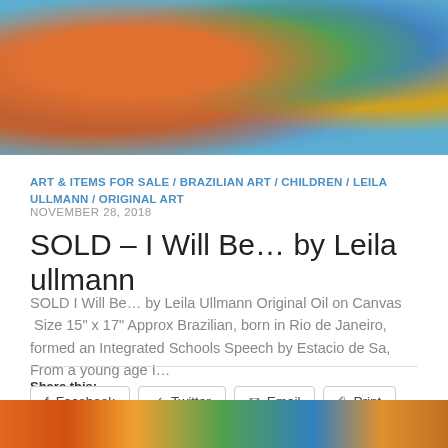[Figure (photo): Close-up painting of a child's face with colorful face paint in blue, green, red, orange, and yellow tones, with a warm wooden frame border visible]
ART & ITEMS FOR SALE / BRAZILIAN ART / CHILDREN / LEILA ULLMANN / ORIGINAL ART
NOVEMBER 28, 2018
SOLD – I Will Be… by Leila ullmann
SOLD I Will Be… by Leila Ullmann Original Oil on Canvas  Size 15" x 17" Approx Brazilian, born in Rio de Janeiro, formed an Integrated Schools Speech by Estacio de Sa, From a young age I…
Share this:
Facebook
Twitter
Email
Print
8+ Google
LinkedIn
[Figure (photo): Bottom strip of colorful artwork visible at the bottom of the page]